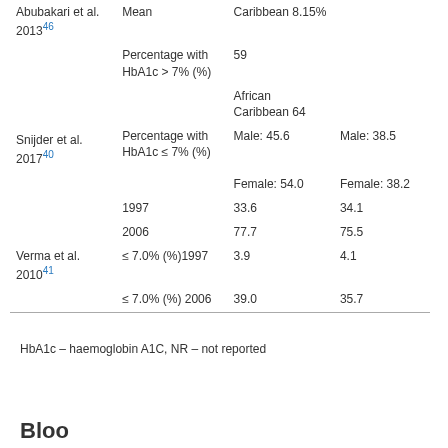| Study | Outcome measure | South Asian | European |
| --- | --- | --- | --- |
| Abubakari et al. 2013[46] | Mean | Caribbean 8.15% |  |
|  | Percentage with HbA1c > 7% (%) | 59 |  |
|  |  | African Caribbean 64 |  |
| Snijder et al. 2017[40] | Percentage with HbA1c ≤ 7% (%) | Male: 45.6 | Male: 38.5 |
|  |  | Female: 54.0 | Female: 38.2 |
|  | 1997 | 33.6 | 34.1 |
|  | 2006 | 77.7 | 75.5 |
| Verma et al. 2010[41] | ≤ 7.0% (%)1997 | 3.9 | 4.1 |
|  | ≤ 7.0% (%) 2006 | 39.0 | 35.7 |
HbA1c – haemoglobin A1C, NR – not reported
Blood...